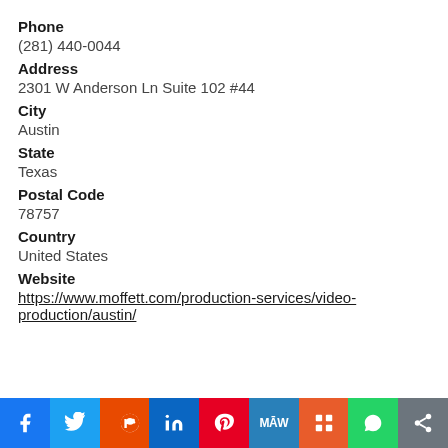Phone
(281) 440-0044
Address
2301 W Anderson Ln Suite 102 #44
City
Austin
State
Texas
Postal Code
78757
Country
United States
Website
https://www.moffett.com/production-services/video-production/austin/
f  Twitter  Reddit  in  Pinterest  MW  Mix  WhatsApp  Share